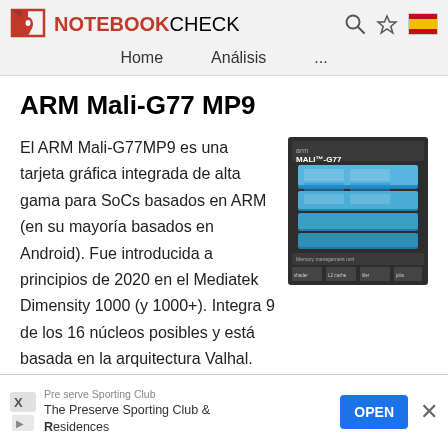NOTEBOOKCHECK — Home   Análisis   ...
ARM Mali-G77 MP9
[Figure (screenshot): ARM Mali-G77 chip architecture diagram showing stacked blue blocks on a dark background with text labels]
El ARM Mali-G77MP9 es una tarjeta gráfica integrada de alta gama para SoCs basados en ARM (en su mayoría basados en Android). Fue introducida a principios de 2020 en el Mediatek Dimensity 1000 (y 1000+). Integra 9 de los 16 núcleos posibles y está basada en la arquitectura Valhal. Según ARM ofrece mejoras en la eficiencia de aprendizaje de la máquina (+60%), un 30% de mejora en el rendimiento y un 30% de mejora en la eficiencia en comparación con la
Preserve Sporting Club — The Preserve Sporting Club & Residences — OPEN